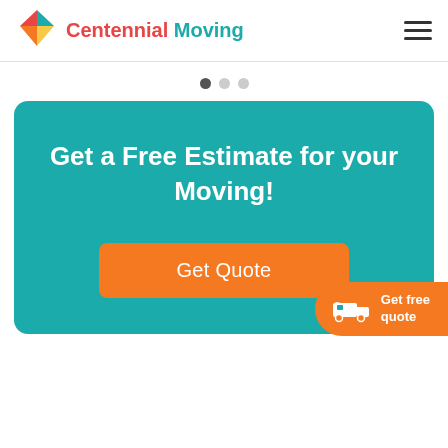[Figure (logo): Centennial Moving logo with colorful diamond/kite geometric icon and company name]
[Figure (other): Three pagination dots, first one dark/active, two light/inactive]
Get a Free Estimate for your Moving!
Get Quote
Get free quote